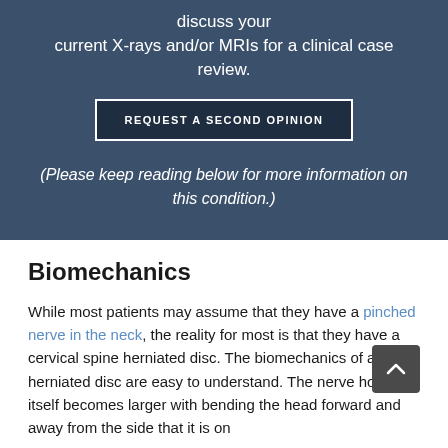discuss your current X-rays and/or MRIs for a clinical case review.
REQUEST A SECOND OPINION
(Please keep reading below for more information on this condition.)
Biomechanics
While most patients may assume that they have a pinched nerve in the neck, the reality for most is that they have a cervical spine herniated disc. The biomechanics of a herniated disc are easy to understand. The nerve hole itself becomes larger with bending the head forward and away from the side that it is on